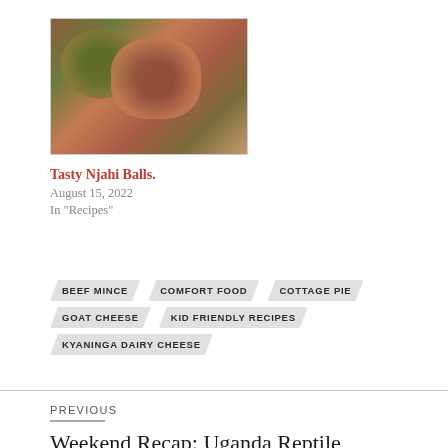[Figure (photo): Close-up photo of Tasty Njahi Balls food dish, showing dark green and reddish-brown meatballs with garnish]
Tasty Njahi Balls.
August 15, 2022
In "Recipes"
BEEF MINCE
COMFORT FOOD
COTTAGE PIE
GOAT CHEESE
KID FRIENDLY RECIPES
KYANINGA DAIRY CHEESE
PREVIOUS
Weekend Recap: Uganda Reptile